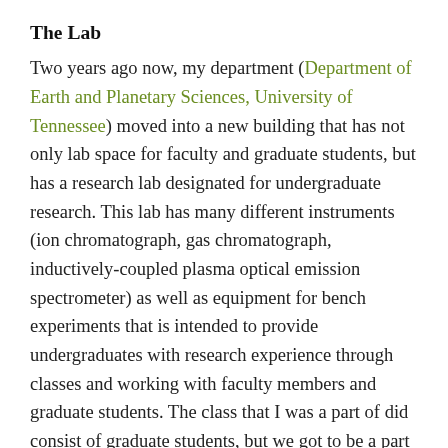The Lab
Two years ago now, my department (Department of Earth and Planetary Sciences, University of Tennessee) moved into a new building that has not only lab space for faculty and graduate students, but has a research lab designated for undergraduate research. This lab has many different instruments (ion chromatograph, gas chromatograph, inductively-coupled plasma optical emission spectrometer) as well as equipment for bench experiments that is intended to provide undergraduates with research experience through classes and working with faculty members and graduate students. The class that I was a part of did consist of graduate students, but we got to be a part of the process of launching the use of this lab and continued to prepare this space for use by undergraduates. This lab space in and of itself is a unique space for undergraduates to explore the geosciences, but